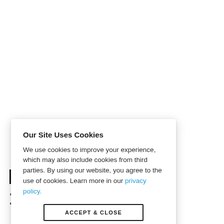Our Site Uses Cookies
We use cookies to improve your experience, which may also include cookies from third parties. By using our website, you agree to the use of cookies. Learn more in our privacy policy.
ACCEPT & CLOSE
N vember 18, 2018